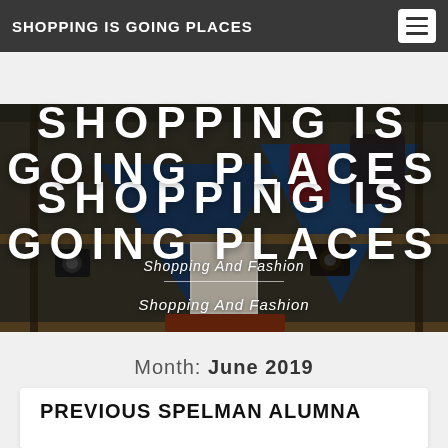SHOPPING IS GOING PLACES
[Figure (photo): A retail shop display with wooden shelves holding cameras, bags, boots, hats, and various accessories. Blue geometric shapes are visible in the background.]
SHOPPING IS GOING PLACES
Shopping And Fashion
Month: June 2019
PREVIOUS SPELMAN ALUMNA